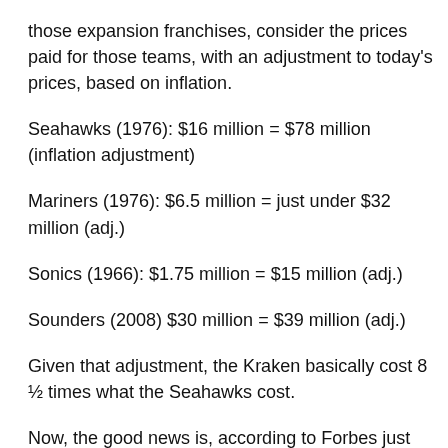those expansion franchises, consider the prices paid for those teams, with an adjustment to today's prices, based on inflation.
Seahawks (1976): $16 million = $78 million (inflation adjustment)
Mariners (1976): $6.5 million = just under $32 million (adj.)
Sonics (1966): $1.75 million = $15 million (adj.)
Sounders (2008) $30 million = $39 million (adj.)
Given that adjustment, the Kraken basically cost 8 ½ times what the Seahawks cost.
Now, the good news is, according to Forbes just last month, the Kraken are already worth $875 million